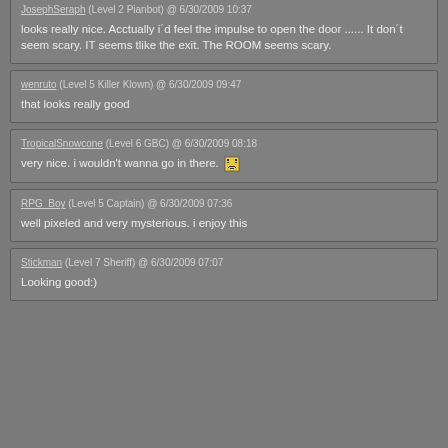JosephSeraph (Level 2 Pianbot) @ 6/30/2009 10:37
looks really nice. Acctually i´d feel the impulse to open the door ...... It don´t seem scary. IT seems tlike the exit. The ROOM seems scary.
wenruto (Level 5 Killer Klown) @ 6/30/2009 09:47
that looks really good
TropicalSnowcone (Level 6 GBC) @ 6/30/2009 08:18
very nice. i wouldn't wanna go in there.
RPG_Boy (Level 5 Captain) @ 6/30/2009 07:36
well pixeled and very mysterious. i enjoy this
Stickman (Level 7 Sheriff) @ 6/30/2009 07:07
Looking good:)